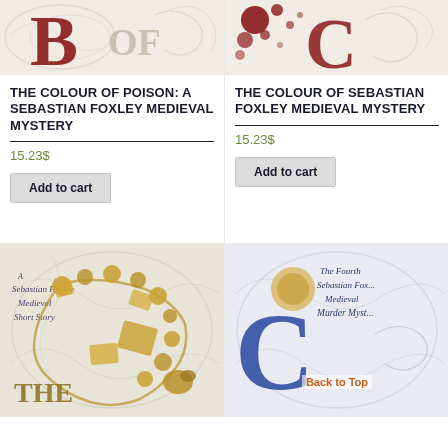[Figure (illustration): Book cover for 'The Colour of Poison' showing decorative letter B in dark red with 'OF' text on ornamental background]
THE COLOUR OF POISON: A SEBASTIAN FOXLEY MEDIEVAL MYSTERY
15.23$
Add to cart
[Figure (illustration): Book cover partial view for 'The Colour of Poison' second edition showing blood splatter design]
THE COLOUR OF POISON: A SEBASTIAN FOXLEY MEDIEVAL MYSTERY
15.23$
Add to cart
[Figure (illustration): Book cover showing gold chain/jewellery on ornamental background with text 'A Sebastian Foxley Medieval Short Story' and 'THE' visible]
[Figure (illustration): Book cover partial showing 'The Fourth Sebastian Foxley Medieval Murder Mystery' text with decorative blue letter and 'Back to Top' link]